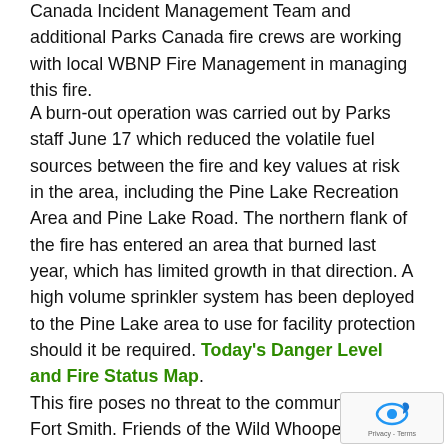Canada Incident Management Team and additional Parks Canada fire crews are working with local WBNP Fire Management in managing this fire.
A burn-out operation was carried out by Parks staff June 17 which reduced the volatile fuel sources between the fire and key values at risk in the area, including the Pine Lake Recreation Area and Pine Lake Road. The northern flank of the fire has entered an area that burned last year, which has limited growth in that direction. A high volume sprinkler system has been deployed to the Pine Lake area to use for facility protection should it be required. Today's Danger Level and Fire Status Map.
This fire poses no threat to the community of Fort Smith. Friends of the Wild Whoopers was advised